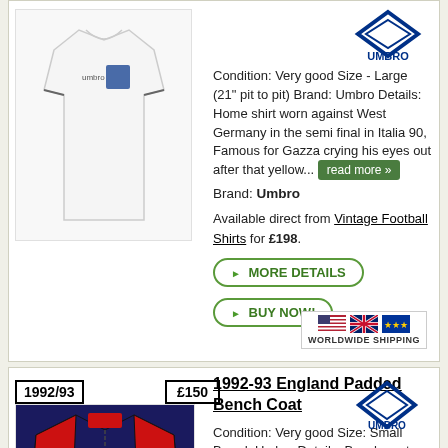[Figure (photo): England white football shirt (Italia 90 Umbro home shirt)]
Condition: Very good Size - Large (21" pit to pit) Brand: Umbro Details: Home shirt worn against West Germany in the semi final in Italia 90, Famous for Gazza crying his eyes out after that yellow... read more »
Brand: Umbro
Available direct from Vintage Football Shirts for £198.
► MORE DETAILS
► BUY NOW!
[Figure (illustration): Worldwide Shipping badge with US, UK and EU flags]
1992/93
£150
1992-93 England Padded Bench Coat
[Figure (photo): 1992-93 England Padded Bench Coat in navy and red by Umbro]
[Figure (logo): Umbro logo diamond with UMBRO text]
Condition: Very good Size: Small Brand: Umbro Details: Bench coat as worn when England were competing the UEFA Euros Group stage where they...